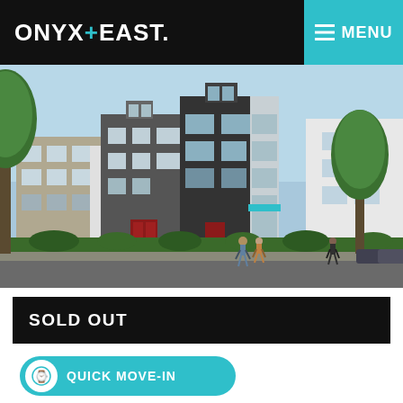ONYX+EAST. | MENU
[Figure (photo): Exterior rendering of modern multi-story townhomes with dark and light facades, street-level landscaping, people walking on sidewalk, trees in background.]
SOLD OUT
QUICK MOVE-IN